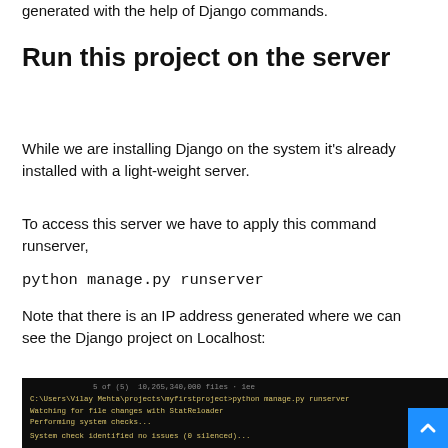generated with the help of Django commands.
Run this project on the server
While we are installing Django on the system it's already installed with a light-weight server.
To access this server we have to apply this command runserver,
python manage.py runserver
Note that there is an IP address generated where we can see the Django project on Localhost:
[Figure (screenshot): Terminal window showing output of 'python manage.py runserver' command, including lines: C:\Users\Vilay Mehta\projects\myfirstproject>python manage.py runserver, Watching for file changes with StatReloader, Performing system checks..., System check identified no issues (0 silenced)...]